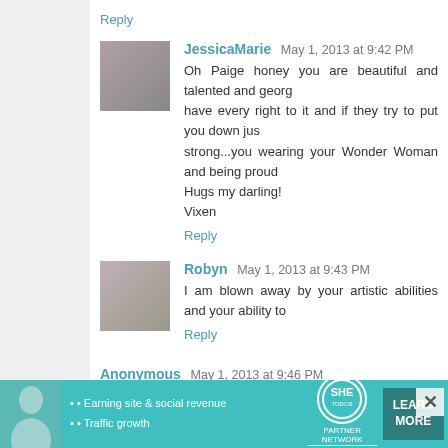Reply
JessicaMarie  May 1, 2013 at 9:42 PM
Oh Paige honey you are beautiful and talented and george... have every right to it and if they try to put you down jus... strong...you wearing your Wonder Woman and being proud... Hugs my darling!
Vixen
Reply
Robyn  May 1, 2013 at 9:43 PM
I am blown away by your artistic abilities and your ability to...
Reply
Anonymous  May 1, 2013 at 9:46 PM
Anybody that follows Jen knows to what I refer when I say... impact as to tell you that when properly measured I wear... that high? Am I ever, ever going to wear a Wonder W... are not only beautiful inside and out and an amazi...
[Figure (infographic): Advertisement banner for SHE Partner Network with teal background, showing bullet points about Earning site & social revenue and Traffic growth, SHE logo, and a LEARN MORE button]